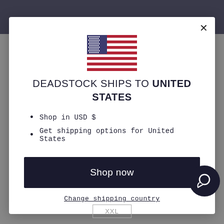[Figure (screenshot): Modal dialog on an e-commerce website showing a US flag, shipping destination message, bullet points about USD and shipping options, a Shop now button, and a Change shipping country link. Background shows a dark product photo partially visible behind the modal.]
DEADSTOCK SHIPS TO UNITED STATES
Shop in USD $
Get shipping options for United States
Shop now
Change shipping country